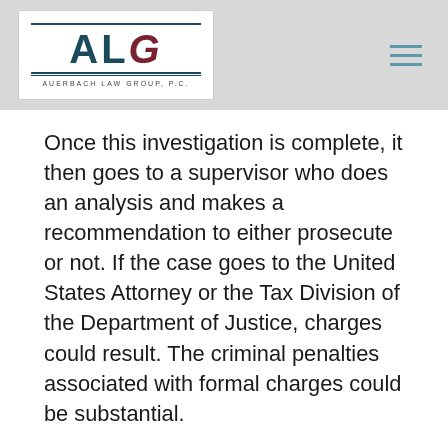[Figure (logo): Auerbach Law Group P.C. logo with ALG letters and firm name]
Once this investigation is complete, it then goes to a supervisor who does an analysis and makes a recommendation to either prosecute or not. If the case goes to the United States Attorney or the Tax Division of the Department of Justice, charges could result. The criminal penalties associated with formal charges could be substantial.
At what point should a New York resident exercise his or her right to counsel? Ideally, an individual should benefit from legal